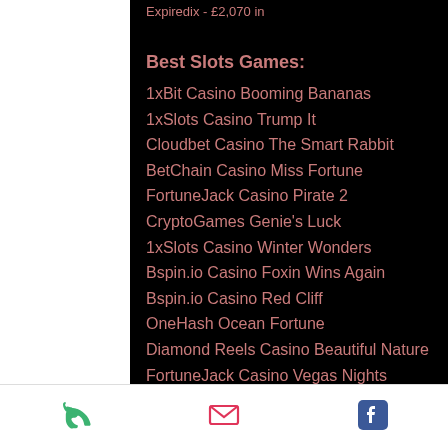Expiredix - £2,070 in
Best Slots Games:
1xBit Casino Booming Bananas
1xSlots Casino Trump It
Cloudbet Casino The Smart Rabbit
BetChain Casino Miss Fortune
FortuneJack Casino Pirate 2
CryptoGames Genie's Luck
1xSlots Casino Winter Wonders
Bspin.io Casino Foxin Wins Again
Bspin.io Casino Red Cliff
OneHash Ocean Fortune
Diamond Reels Casino Beautiful Nature
FortuneJack Casino Vegas Nights
Vegas Crest Casino Family Guy
mBTC free bet Fruit Zen
CryptoWild Casino Unicorn Legend
phone | email | facebook